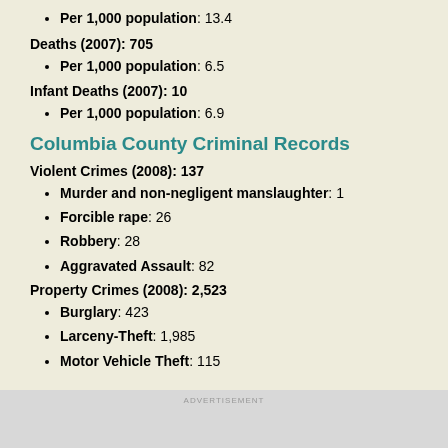Per 1,000 population: 13.4
Deaths (2007): 705
Per 1,000 population: 6.5
Infant Deaths (2007): 10
Per 1,000 population: 6.9
Columbia County Criminal Records
Violent Crimes (2008): 137
Murder and non-negligent manslaughter: 1
Forcible rape: 26
Robbery: 28
Aggravated Assault: 82
Property Crimes (2008): 2,523
Burglary: 423
Larceny-Theft: 1,985
Motor Vehicle Theft: 115
ADVERTISEMENT